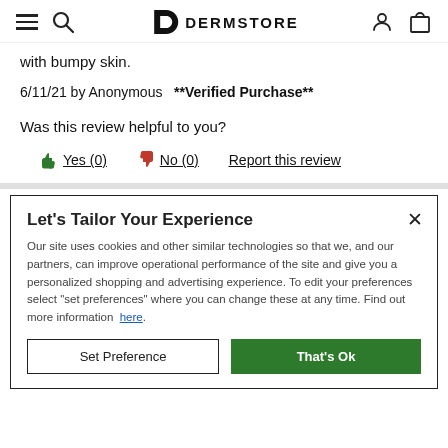DERMSTORE
with bumpy skin.
6/11/21 by Anonymous  **Verified Purchase**
Was this review helpful to you?
Yes (0)   No (0)   Report this review
Let's Tailor Your Experience
Our site uses cookies and other similar technologies so that we, and our partners, can improve operational performance of the site and give you a personalized shopping and advertising experience. To edit your preferences select "set preferences" where you can change these at any time. Find out more information here.
Set Preference    That's Ok